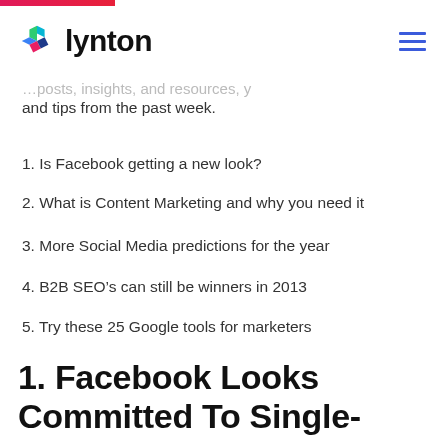lynton
and tips from the past week.
1. Is Facebook getting a new look?
2. What is Content Marketing and why you need it
3. More Social Media predictions for the year
4. B2B SEO’s can still be winners in 2013
5. Try these 25 Google tools for marketers
1. Facebook Looks Committed To Single-